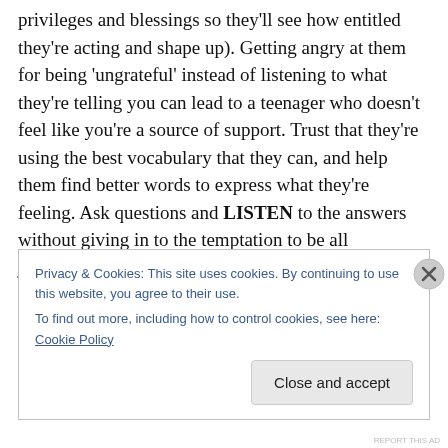privileges and blessings so they'll see how entitled they're acting and shape up). Getting angry at them for being 'ungrateful' instead of listening to what they're telling you can lead to a teenager who doesn't feel like you're a source of support. Trust that they're using the best vocabulary that they can, and help them find better words to express what they're feeling. Ask questions and LISTEN to the answers without giving in to the temptation to be all judgmental or looking for ways to punish them to opening up to you. You can't have open, honest communication with a teenager and then censor how they talk, or try to
Privacy & Cookies: This site uses cookies. By continuing to use this website, you agree to their use.
To find out more, including how to control cookies, see here: Cookie Policy
Close and accept